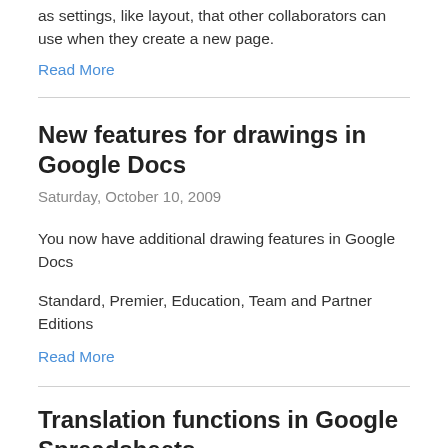as settings, like layout, that other collaborators can use when they create a new page.
Read More
New features for drawings in Google Docs
Saturday, October 10, 2009
You now have additional drawing features in Google Docs
Standard, Premier, Education, Team and Partner Editions
Read More
Translation functions in Google Spreadsheets